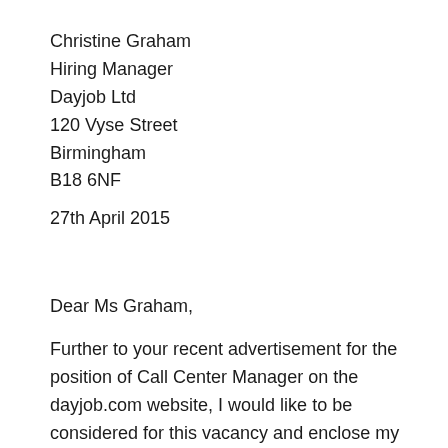Christine Graham
Hiring Manager
Dayjob Ltd
120 Vyse Street
Birmingham
B18 6NF
27th April 2015
Dear Ms Graham,
Further to your recent advertisement for the position of Call Center Manager on the dayjob.com website, I would like to be considered for this vacancy and enclose my CV for your review.